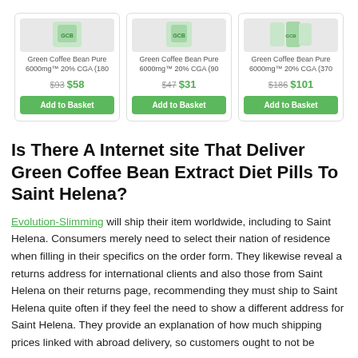[Figure (screenshot): Three product cards for Green Coffee Bean Pure 6000mg 20% CGA in different quantities (180, 90, 370), each showing an old strikethrough price and a new green price, plus an Add to Basket button]
Is There A Internet site That Deliver Green Coffee Bean Extract Diet Pills To Saint Helena?
Evolution-Slimming will ship their item worldwide, including to Saint Helena. Consumers merely need to select their nation of residence when filling in their specifics on the order form. They likewise reveal a returns address for international clients and also those from Saint Helena on their returns page, recommending they must ship to Saint Helena quite often if they feel the need to show a different address for Saint Helena. They provide an explanation of how much shipping prices linked with abroad delivery, so customers ought to not be